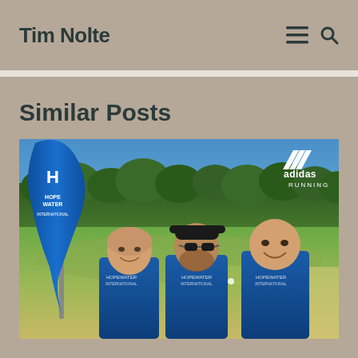Tim Nolte
Similar Posts
[Figure (photo): Three men in blue Hope Water International shirts standing on a golf course/running event venue, with a blue teardrop-shaped Hope Water International banner on the left and an Adidas Running logo watermark in the top right corner. Green trees and blue sky in the background.]